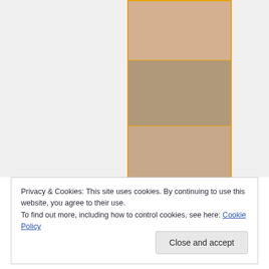[Figure (photo): Three stacked photos of explicit adult content behind a cookie consent banner]
Privacy & Cookies: This site uses cookies. By continuing to use this website, you agree to their use.
To find out more, including how to control cookies, see here: Cookie Policy
Close and accept